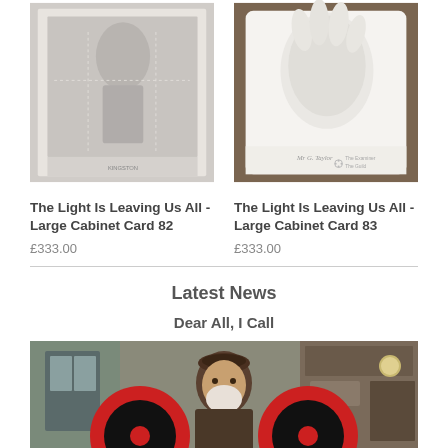[Figure (photo): Black and white cabinet card photo showing a figure with dotted lines overlay]
The Light Is Leaving Us All - Large Cabinet Card 82
£333.00
[Figure (photo): Cabinet card photo showing a handprint or impression on white card with cursive signature]
The Light Is Leaving Us All - Large Cabinet Card 83
£333.00
Latest News
Dear All, I Call
[Figure (photo): Photo of a bearded man in a cap sitting between two large red and black circular speaker-like objects in a room with clocks and shelves]